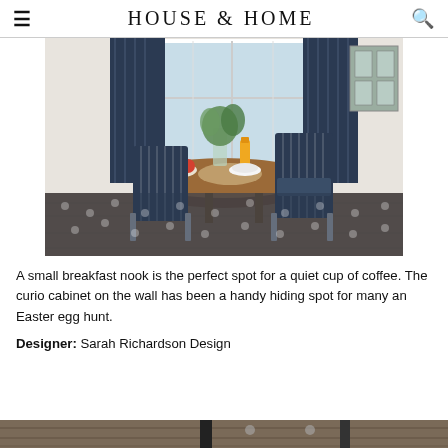HOUSE & HOME
[Figure (photo): A breakfast nook with a round wooden table, navy pinstriped upholstered chairs with metal frames, a white window with navy curtains, a glass vase with wildflowers, a bowl of apples, orange juice, place settings, and a curio cabinet visible on the wall at upper right. A patterned navy rug is visible on the floor.]
A small breakfast nook is the perfect spot for a quiet cup of coffee. The curio cabinet on the wall has been a handy hiding spot for many an Easter egg hunt.
Designer: Sarah Richardson Design
[Figure (photo): Partial view of another room with a wooden ceiling and dark framing elements visible at the bottom of the page.]